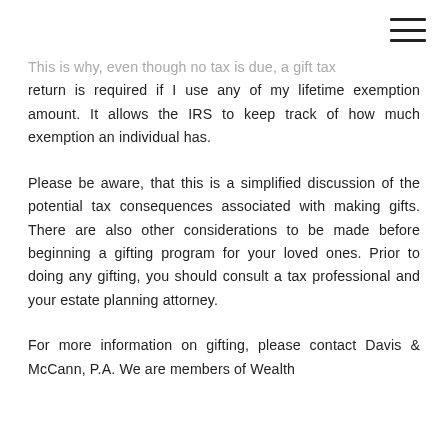[Figure (other): Hamburger menu icon (three horizontal lines) in top right corner]
This is why, even though no tax is due, a gift tax return is required if I use any of my lifetime exemption amount. It allows the IRS to keep track of how much exemption an individual has.
Please be aware, that this is a simplified discussion of the potential tax consequences associated with making gifts. There are also other considerations to be made before beginning a gifting program for your loved ones. Prior to doing any gifting, you should consult a tax professional and your estate planning attorney.
For more information on gifting, please contact Davis & McCann, P.A. We are members of Wealth